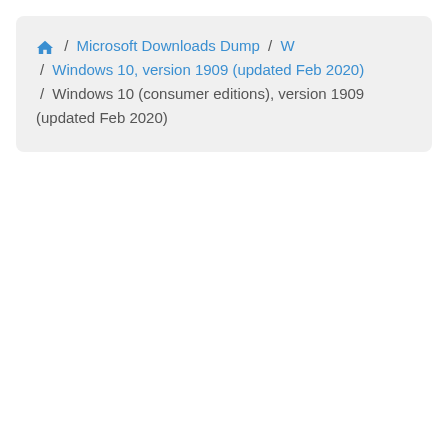🏠 / Microsoft Downloads Dump / W / Windows 10, version 1909 (updated Feb 2020) / Windows 10 (consumer editions), version 1909 (updated Feb 2020)